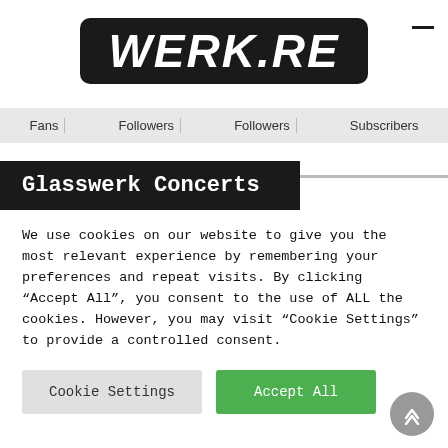[Figure (logo): WERK.RE logo in white italic bold text on black rounded rectangle background]
Fans | Followers | Followers | Subscribers
Glasswerk Concerts
We use cookies on our website to give you the most relevant experience by remembering your preferences and repeat visits. By clicking “Accept All”, you consent to the use of ALL the cookies. However, you may visit “Cookie Settings” to provide a controlled consent.
Cookie Settings | Accept All